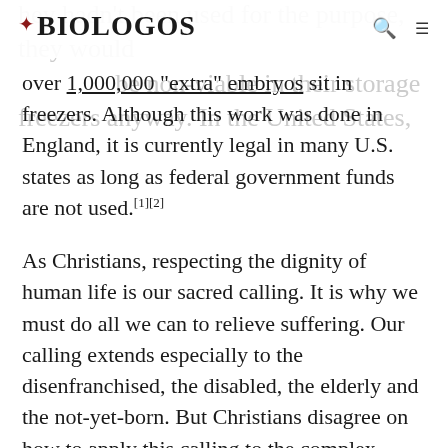BioLogos
over 1,000,000 “extra” embryos sit in freezers. Although this work was done in England, it is currently legal in many U.S. states as long as federal government funds are not used.[1][2]
As Christians, respecting the dignity of human life is our sacred calling. It is why we must do all we can to relieve suffering. Our calling extends especially to the disenfranchised, the disabled, the elderly and the not-yet-born. But Christians disagree on how to apply this calling to the complex question of embryonic research.[3] Many Christians examine the human embryo experiments and conclude that